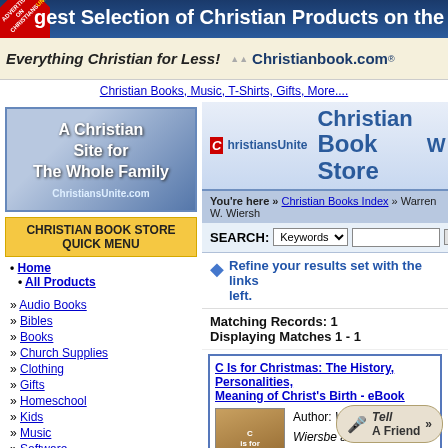gest Selection of Christian Products on the Web
Everything Christian for Less! Christianbook.com
Christian Books, Music, T-Shirts, Gifts, More....
[Figure (logo): A Christian Site for The Whole Family - ChristiansUnite.com logo with figures silhouette]
CHRISTIAN BOOK STORE QUICK MENU
• Home
• All Products
» Audio Books
» Bibles
» Books
» Church Supplies
» Clothing
» Gifts
» Homeschool
» Kids
» Music
» Software
» Spanish Products
» Video / DVD
Special Searches
[Figure (logo): ChristiansUnite Christian Book Store header logo with mascot]
You're here » Christian Books Index » Warren W. Wierbe
SEARCH: Keywords [dropdown] [text input] [Go button]
Refine your results set with the links left.
Matching Records: 1
Displaying Matches 1 - 1
C Is for Christmas: The History, Personalities, Meaning of Christ's Birth - eBook
Author: Warren W. Wiersbe and D. Wiersbe
Retail Price: $12.99
Our Price: $8.89
Save: 4.10 (31.56%)
Availability: In Stock
» More information...